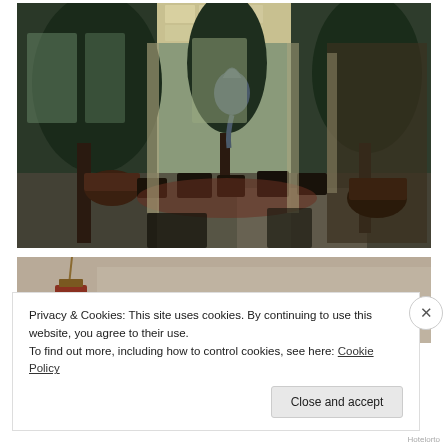[Figure (photo): Interior of a grand hotel lobby or conservatory with tall palm trees, wicker furniture, ornate columns, skylight ceiling, and a large decorative elephant sculpture. The space has lush tropical plants and reflective marble floors.]
[Figure (photo): Partial view of a second photo showing a decorative item hanging by a chain, mostly obscured by the cookie consent banner overlay.]
Privacy & Cookies: This site uses cookies. By continuing to use this website, you agree to their use.
To find out more, including how to control cookies, see here: Cookie Policy
Close and accept